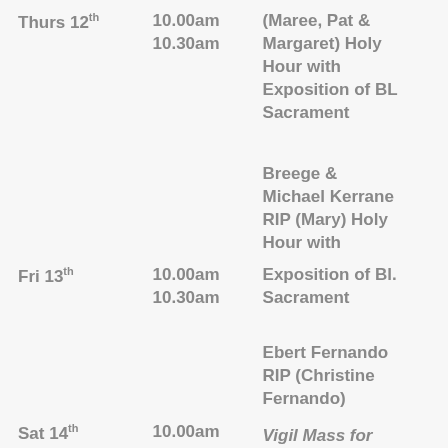| Day | Time | Description |
| --- | --- | --- |
| Thurs 12th | 10.00am
10.30am | (Maree, Pat & Margaret) Holy Hour with Exposition of BL Sacrament |
| Fri 13th | 10.00am
10.30am | Breege & Michael Kerrane RIP (Mary) Holy Hour with Exposition of Bl. Sacrament |
| Sat 14th | 10.00am | Ebert Fernando RIP (Christine Fernando)
Vigil Mass for Sunday |